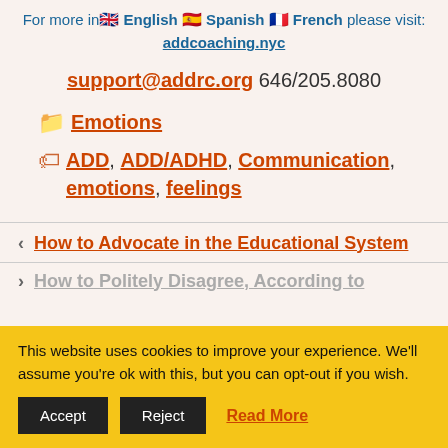For more information, please visit: addcoaching.nyc (English, Spanish, French flags shown)
support@addrc.org 646/205.8080
Category: Emotions
Tags: ADD, ADD/ADHD, Communication, emotions, feelings
< How to Advocate in the Educational System
> How to Politely Disagree, According to
This website uses cookies to improve your experience. We'll assume you're ok with this, but you can opt-out if you wish. Accept | Reject | Read More